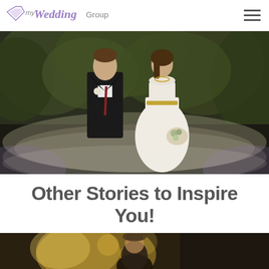my Wedding Group
[Figure (photo): Wedding couple standing outdoors in front of lush green foliage. Groom in dark suit with red tie, bride in white strapless gown with gold belt, holding a bouquet.]
Other Stories to Inspire You!
[Figure (photo): Partial photo at bottom of page showing a blurred outdoor wedding scene with warm golden light.]